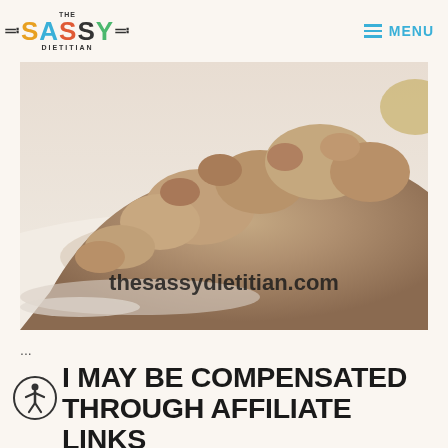THE SASSY DIETITIAN — MENU
[Figure (photo): Close-up photo of a pile of brown/tan powder (likely protein or supplement powder) on a white surface, with 'thesassydietitian.com' text overlay at the bottom center]
...
I MAY BE COMPENSATED THROUGH AFFILIATE LINKS